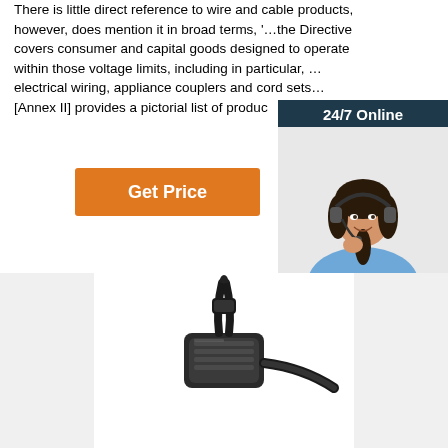There is little direct reference to wire and cable products, however, does mention it in broad terms, '…the Directive covers consumer and capital goods designed to operate within those voltage limits, including in particular, …electrical wiring, appliance couplers and cord sets… [Annex II] provides a pictorial list of products
[Figure (illustration): Get Price orange button]
[Figure (illustration): 24/7 Online chat widget with a woman wearing headset, text 'Click here for free chat!' and an orange QUOTATION button]
[Figure (photo): Close-up photo of a black cable or wire connector/coupler device at the bottom of the page]